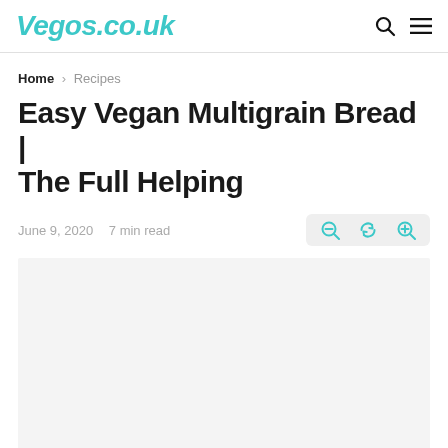Vegos.co.uk
Home > Recipes
Easy Vegan Multigrain Bread | The Full Helping
June 9, 2020  7 min read
[Figure (photo): Blank/loading image area placeholder below the article header]